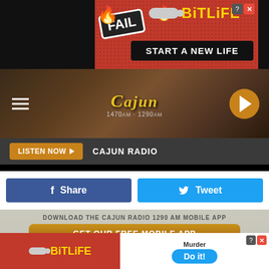[Figure (screenshot): BitLife advertisement banner at top - red background with FAIL text, cartoon character, flames, BitLife logo and 'START A NEW LIFE' text]
[Figure (screenshot): Cajun Radio website header with logo showing 1470AM and 1290AM, hamburger menu icon on left, play button on right, brown background]
[Figure (screenshot): Listen Now button and Cajun Radio label on dark gray bar]
[Figure (screenshot): Social share buttons - Facebook Share (dark blue) and Twitter Tweet (light blue)]
[Figure (screenshot): Download the Cajun Radio 1290 AM Mobile App section with GET OUR FREE MOBILE APP brown button and Also listen on: Amazon Alexa text, house background image]
[Figure (screenshot): BitLife advertisement at bottom with Murder / Do it! call to action]